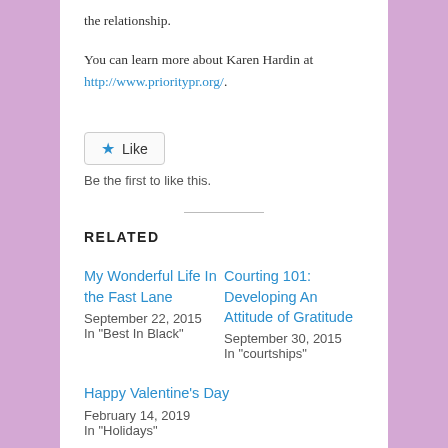the relationship.
You can learn more about Karen Hardin at http://www.prioritypr.org/.
[Figure (other): Like button with star icon]
Be the first to like this.
RELATED
My Wonderful Life In the Fast Lane
September 22, 2015
In "Best In Black"
Courting 101: Developing An Attitude of Gratitude
September 30, 2015
In "courtships"
Happy Valentine's Day
February 14, 2019
In "Holidays"
This entry was posted in Uncategorized and tagged Jae